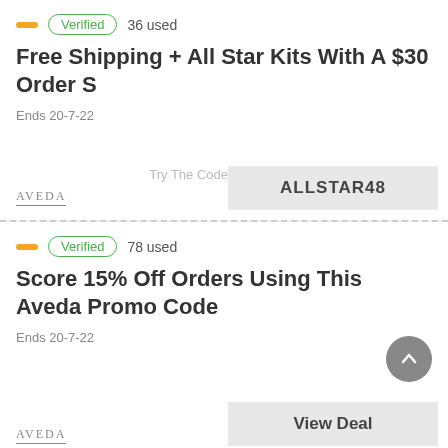Verified  36 used
Free Shipping + All Star Kits With A $30 Order S
Ends 20-7-22
Try The Code
ALLSTAR48
Verified  78 used
Score 15% Off Orders Using This Aveda Promo Code
Ends 20-7-22
View Deal
Verified  35 used